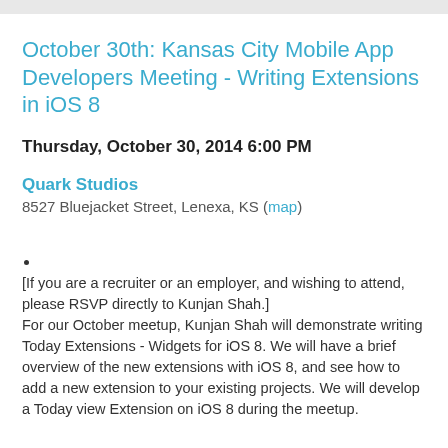October 30th: Kansas City Mobile App Developers Meeting - Writing Extensions in iOS 8
Thursday, October 30, 2014 6:00 PM
Quark Studios
8527 Bluejacket Street, Lenexa, KS (map)
[If you are a recruiter or an employer, and wishing to attend, please RSVP directly to Kunjan Shah.]
For our October meetup, Kunjan Shah will demonstrate writing Today Extensions - Widgets for iOS 8. We will have a brief overview of the new extensions with iOS 8, and see how to add a new extension to your existing projects. We will develop a Today view Extension on iOS 8 during the meetup.